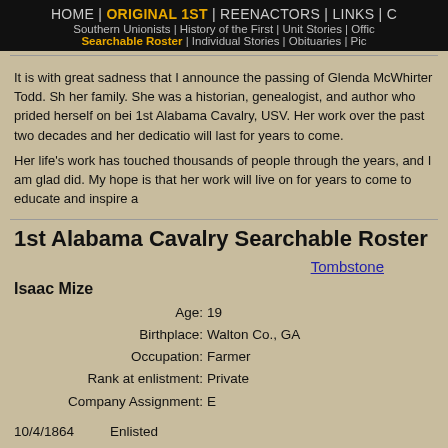HOME | ORIGINAL 1ST | REENACTORS | LINKS | C
Southern Unionists | History of the First | Unit Stories | Offic
Searchable Roster | Individual Stories | Obituaries | Pic
It is with great sadness that I announce the passing of Glenda McWhirter Todd. Sh her family. She was a historian, genealogist, and author who prided herself on bei 1st Alabama Cavalry, USV. Her work over the past two decades and her dedicatio will last for years to come.
Her life's work has touched thousands of people through the years, and I am glad did. My hope is that her work will live on for years to come to educate and inspire a
1st Alabama Cavalry Searchable Roster
Tombstone
Isaac Mize
| Age: | 19 |
| Birthplace: | Walton Co., GA |
| Occupation: | Farmer |
| Rank at enlistment: | Private |
| Company Assignment: | E |
| 10/4/1864 | Enlisted | Rome, GA |
| 10/4/1864 | Mustered In |  |